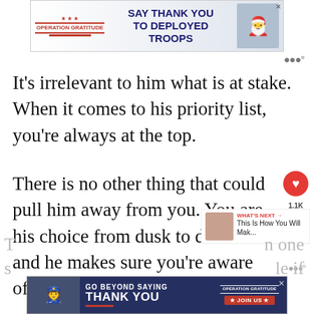[Figure (other): Advertisement banner: Operation Gratitude logo with 'SAY THANK YOU TO DEPLOYED TROOPS' text and cartoon Santa illustration]
It's irrelevant to him what is at stake. When it comes to his priority list, you're always at the top.
There is no other thing that could pull him away from you. You are his choice from dusk to dawn and he makes sure you're aware of it.
[Figure (other): Advertisement banner: Operation Gratitude 'GO BEYOND SAYING THANK YOU' with JOIN US button]
T... n one
s... le if